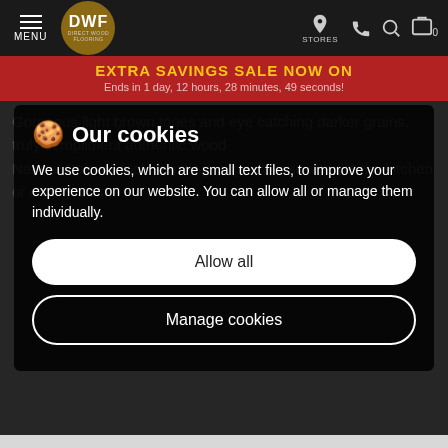[Figure (screenshot): DWF Direct Wood Flooring navigation bar with hamburger menu, logo circle, and icons for stores, phone, search, cart]
EXTRA SAVINGS SALE NOW ON
Ends in 1 day, 12 hours, 28 minutes, 49 seconds!
Our cookies
We use cookies, which are small text files, to improve your experience on our website. You can allow all or manage them individually.
Allow all
Manage cookies
floor with its natural oil finish and durable construction, allows your flooring to deal with all aspects of a busy home. The Farmhouse range gives you the look of a genuine solid wood floor without breaking the bank, don't forget to take a look at our accessories page, it is fully stocked with products to help you get the best results.
We recommend oiling this product to ensure your